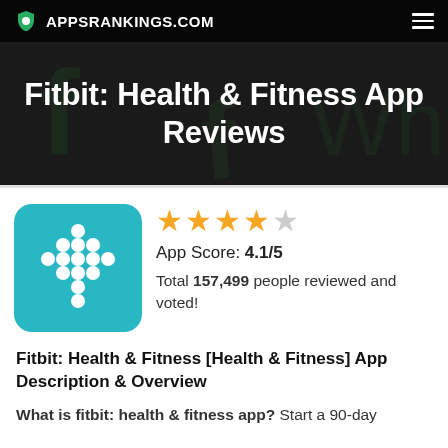APPSRANKINGS.COM
Fitbit: Health & Fitness App Reviews
[Figure (logo): Fitbit app icon — teal square with white dot grid pattern forming a diamond/arrow shape]
★★★★☆
App Score: 4.1/5
Total 157,499 people reviewed and voted!
Fitbit: Health & Fitness [Health & Fitness] App Description & Overview
What is fitbit: health & fitness app? Start a 90-day